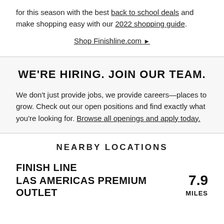for this season with the best back to school deals and make shopping easy with our 2022 shopping guide.
Shop Finishline.com ▶
WE'RE HIRING. JOIN OUR TEAM.
We don't just provide jobs, we provide careers—places to grow. Check out our open positions and find exactly what you're looking for. Browse all openings and apply today.
NEARBY LOCATIONS
FINISH LINE
LAS AMERICAS PREMIUM OUTLET
7.9 MILES